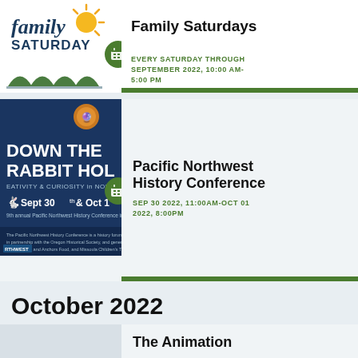[Figure (logo): Family Saturdays logo with cursive text, sun graphic, green arches, and calendar badge]
Family Saturdays
EVERY SATURDAY THROUGH SEPTEMBER 2022, 10:00 AM-5:00 PM
[Figure (photo): Down the Rabbit Hole conference poster - dark blue background with text and calendar badge]
Pacific Northwest History Conference
SEP 30 2022, 11:00AM-OCT 01 2022, 8:00PM
October 2022
The Animation